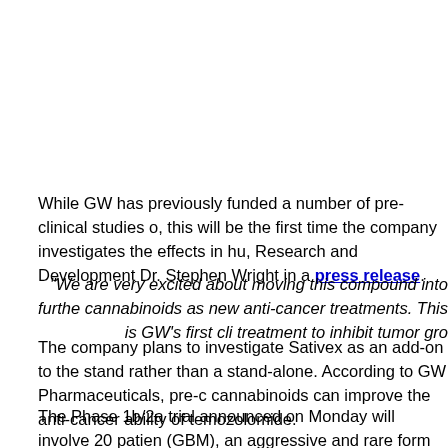While GW has previously funded a number of pre-clinical studies o, this will be the first time the company investigates the effects in hu, Research and Development Dr. Stephen Wright in a press release.
"We are very excited about moving this compound into furthe cannabinoids as new anti-cancer treatments. This is GW's first cli treatment to inhibit tumor gro
The company plans to investigate Sativex as an add-on to the stand rather than a stand-alone. According to GW Pharmaceuticals, pre-c cannabinoids can improve the anti-cancer ability of temozolomide.
The Phase 1b/2a trial announced on Monday will involve 20 patien (GBM), an aggressive and rare form of brain cancer that accounts f